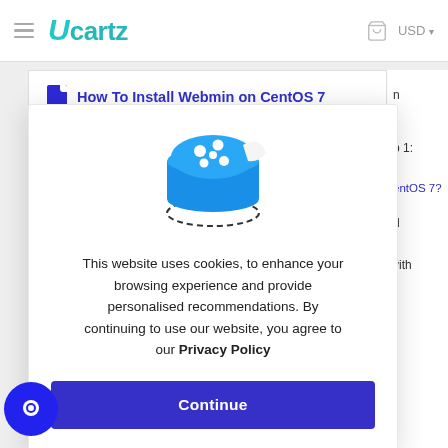≡  Ucartz   🛒  USD ▾
How To Install Webmin on CentOS 7
[Figure (illustration): Cookie icon: a blue cookie/disc shape with white dots on top, with a dashed ellipse outline below suggesting it is floating]
This website uses cookies, to enhance your browsing experience and provide personalised recommendations. By continuing to use our website, you agree to our Privacy Policy
Continue
Apache on CentOS 7